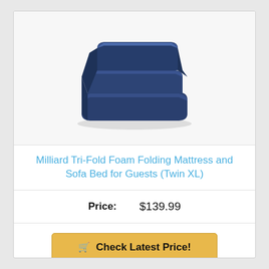[Figure (photo): Navy blue tri-fold foam mattress/sofa bed shown in folded upright position resembling a small sofa]
Milliard Tri-Fold Foam Folding Mattress and Sofa Bed for Guests (Twin XL)
Price: $139.99
Check Latest Price!